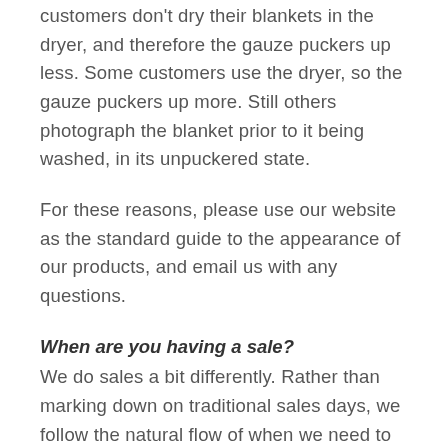customers don't dry their blankets in the dryer, and therefore the gauze puckers up less. Some customers use the dryer, so the gauze puckers up more. Still others photograph the blanket prior to it being washed, in its unpuckered state.
For these reasons, please use our website as the standard guide to the appearance of our products, and email us with any questions.
When are you having a sale?
We do sales a bit differently. Rather than marking down on traditional sales days, we follow the natural flow of when we need to move items off of our shelves. We put discontinued